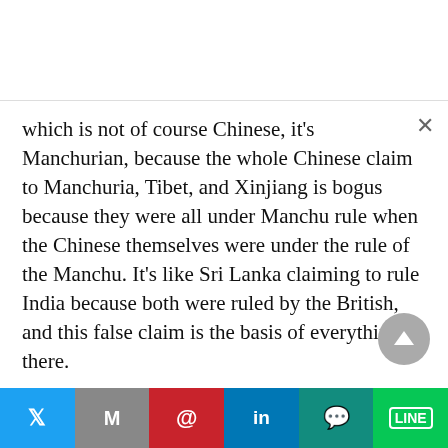which is not of course Chinese, it's Manchurian, because the whole Chinese claim to Manchuria, Tibet, and Xinjiang is bogus because they were all under Manchu rule when the Chinese themselves were under the rule of the Manchu. It's like Sri Lanka claiming to rule India because both were ruled by the British, and this false claim is the basis of everything there.
XI SLAUGHTERS THE GOLDEN GOOSE OF SHANGHAI